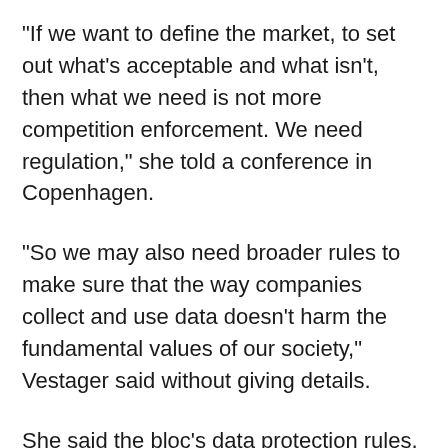"If we want to define the market, to set out what's acceptable and what isn't, then what we need is not more competition enforcement. We need regulation," she told a conference in Copenhagen.
"So we may also need broader rules to make sure that the way companies collect and use data doesn't harm the fundamental values of our society," Vestager said without giving details.
She said the bloc's data protection rules, adopted last year, gave Europeans control over personal data but did not help in instances when problems arose from companies misusing data to draw conclusions about individuals or to undermine democracy.